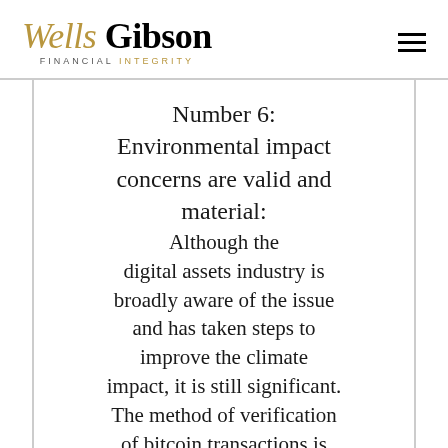Wells Gibson FINANCIAL INTEGRITY
Number 6: Environmental impact concerns are valid and material:
Although the digital assets industry is broadly aware of the issue and has taken steps to improve the climate impact, it is still significant. The method of verification of bitcoin transactions is energy intensive, as miners compete for newly minted bitcoins by producing the